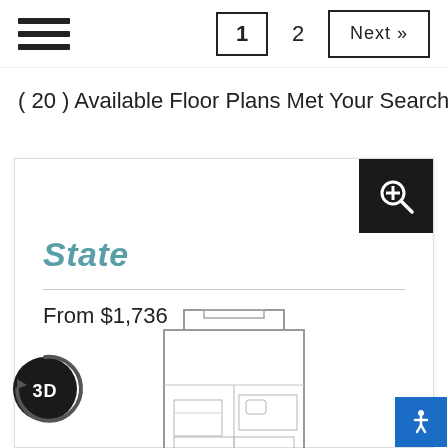Navigation bar with hamburger menu and pagination: 1, 2, Next »
( 20 ) Available Floor Plans Met Your Search Criteria
[Figure (schematic): Floor plan card showing 'State' apartment floor plan with zoom button, price 'From $1,736', a schematic floor plan diagram, and a 3D tour button]
State
From $1,736